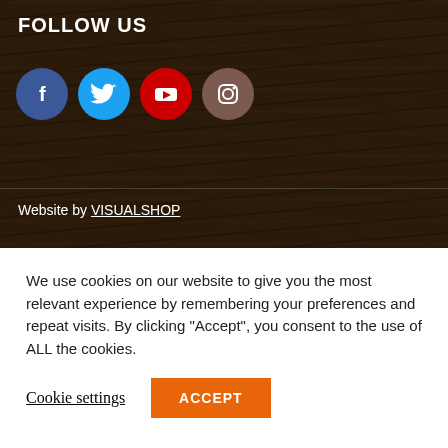FOLLOW US
[Figure (illustration): Four social media icons: Facebook (blue circle), Twitter (cyan circle), YouTube (red circle), Instagram (brown circle)]
Website by VISUALSHOP
AIRGUNS INFORMATION
Contact Us
Safety and Law
How to Buy an Airgun Online
How to Buy a Blank Firing Pistol
We use cookies on our website to give you the most relevant experience by remembering your preferences and repeat visits. By clicking “Accept”, you consent to the use of ALL the cookies.
Cookie settings | ACCEPT